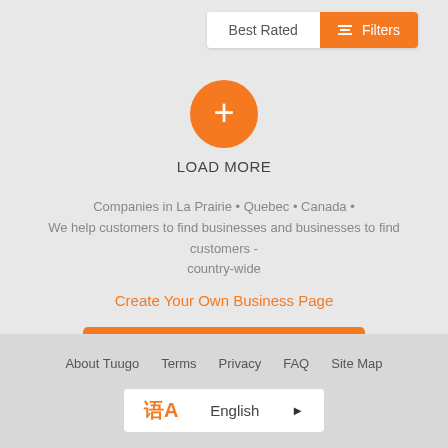[Figure (screenshot): Tab bar with 'Best Rated' and orange 'Filters' button with filter icon]
[Figure (other): Orange circular button with white plus sign for Load More]
LOAD MORE
Companies in La Prairie • Quebec • Canada •
We help customers to find businesses and businesses to find customers - country-wide
Create Your Own Business Page
PUBLISH BUSINESS
About Tuugo   Terms   Privacy   FAQ   Site Map
English